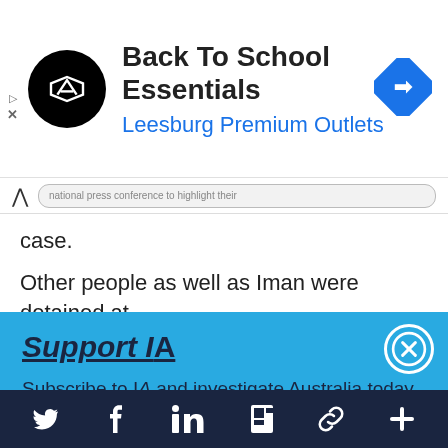[Figure (screenshot): Advertisement banner: black circular logo with arrow symbol, 'Back To School Essentials' in bold dark text, 'Leesburg Premium Outlets' in blue text, blue diamond navigation arrow icon on right, skip/close controls on left edge]
national press conference to highlight their case.
Other people as well as Iman were detained at
[Figure (screenshot): Blue popup overlay with 'Support IA' heading (bold, italic, underlined), subtitle 'Subscribe to IA and investigate Australia today.', white circle X close button top right, buttons: Close, Subscribe (dark navy), Donate (outlined white). Large 'IA' watermark in background. Dark navy footer bar with social icons: Twitter, Facebook, LinkedIn, Flipboard, chain/link, plus.]